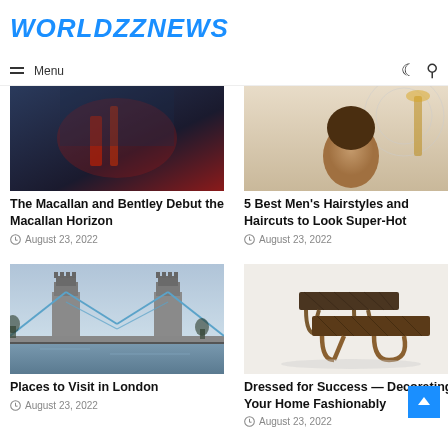WORLDZZNEWS
≡ Menu
[Figure (photo): Close-up photo with dark and red tones — Macallan whisky related image]
[Figure (photo): Close-up portrait photo — men's hairstyle]
The Macallan and Bentley Debut the Macallan Horizon
August 23, 2022
5 Best Men's Hairstyles and Haircuts to Look Super-Hot
August 23, 2022
[Figure (photo): Tower Bridge in London on a cloudy day]
[Figure (photo): Decorative furniture — two stylish coffee tables with geometric patterned tops]
Places to Visit in London
August 23, 2022
Dressed for Success — Decorating Your Home Fashionably
August 23, 2022